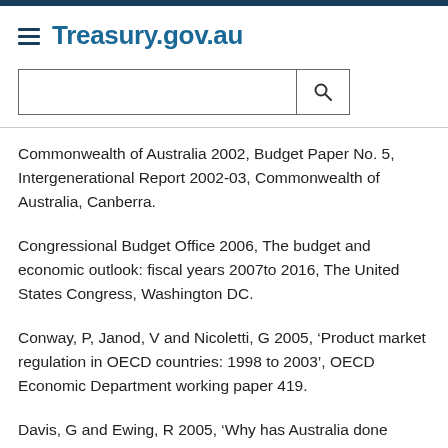Treasury.gov.au
Commonwealth of Australia 2002, Budget Paper No. 5, Intergenerational Report 2002-03, Commonwealth of Australia, Canberra.
Congressional Budget Office 2006, The budget and economic outlook: fiscal years 2007to 2016, The United States Congress, Washington DC.
Conway, P, Janod, V and Nicoletti, G 2005, ‘Product market regulation in OECD countries: 1998 to 2003’, OECD Economic Department working paper 419.
Davis, G and Ewing, R 2005, ‘Why has Australia done better than New Zealand: Good luck or good management?’,